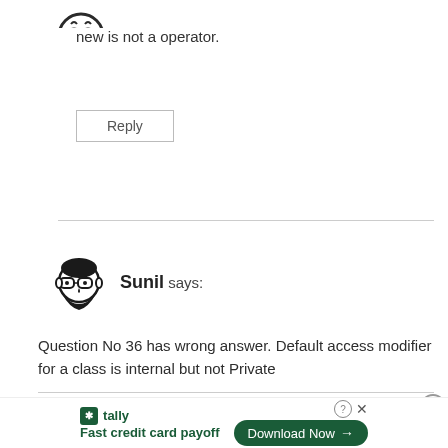[Figure (illustration): Partial avatar icon visible at top, dark eye/face icon cropped]
new is not a operator.
Reply
[Figure (illustration): Avatar of Sunil: illustrated face with glasses and beard, black and white]
Sunil says:
Question No 36 has wrong answer. Default access modifier for a class is internal but not Private
Reply
[Figure (other): Tally app advertisement banner: logo, Fast credit card payoff tagline, Download Now button]